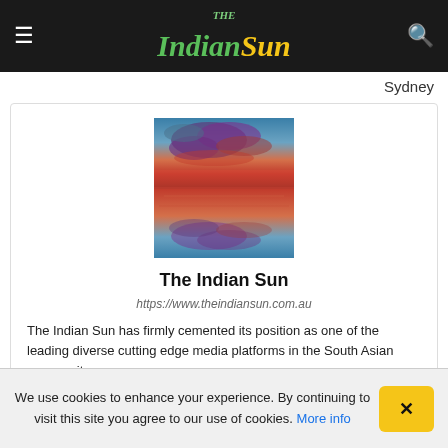The Indian Sun
Sydney
[Figure (photo): Sunset over water with dramatic red and orange clouds reflected in calm water]
The Indian Sun
https://www.theindiansun.com.au
The Indian Sun has firmly cemented its position as one of the leading diverse cutting edge media platforms in the South Asian community.
We use cookies to enhance your experience. By continuing to visit this site you agree to our use of cookies. More info